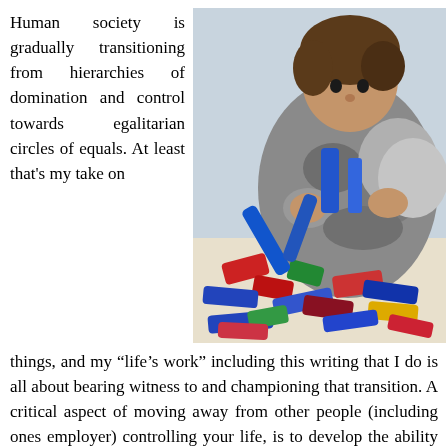Human society is gradually transitioning from hierarchies of domination and control towards egalitarian circles of equals. At least that's my take on
[Figure (photo): A young child with brown hair playing with colorful building blocks/construction toy pieces on a white table. The child is wearing a gray and camouflage-patterned outfit with a yellow collar visible.]
things, and my “life’s work” including this writing that I do is all about bearing witness to and championing that transition. A critical aspect of moving away from other people (including ones employer) controlling your life, is to develop the ability to exercise that control yourself instead. So moving beyond the